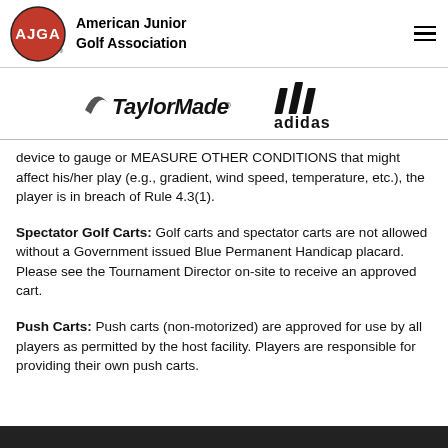[Figure (logo): AJGA logo (red oval with white AJGA text) and American Junior Golf Association text header with hamburger menu icon]
[Figure (logo): TaylorMade and adidas sponsor logos side by side]
device to gauge or MEASURE OTHER CONDITIONS that might affect his/her play (e.g., gradient, wind speed, temperature, etc.), the player is in breach of Rule 4.3(1).
Spectator Golf Carts: Golf carts and spectator carts are not allowed without a Government issued Blue Permanent Handicap placard. Please see the Tournament Director on-site to receive an approved cart.
Push Carts: Push carts (non-motorized) are approved for use by all players as permitted by the host facility. Players are responsible for providing their own push carts.